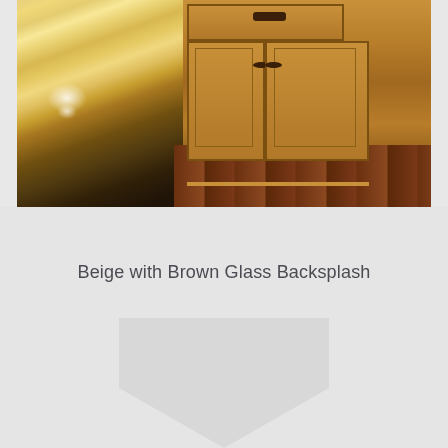[Figure (photo): Kitchen photo showing golden granite countertop on the left with reflective highlights, honey-brown wood cabinets with raised panel doors and dark round knobs, a drawer at top center, and dark hardwood flooring visible at the bottom right.]
Beige with Brown Glass Backsplash